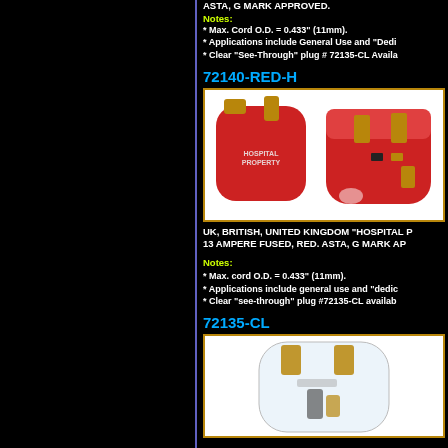ASTA, G MARK APPROVED.
Notes:
* Max. Cord O.D. = 0.433" (11mm).
* Applications include General Use and "Dedi...
* Clear "See-Through" plug # 72135-CL Availa...
72140-RED-H
[Figure (photo): Red UK/British hospital property plug shown from two angles — front and rear — with gold pins visible]
UK, BRITISH, UNITED KINGDOM "HOSPITAL P... 13 AMPERE FUSED, RED. ASTA, G MARK APP...
Notes:
* Max. cord O.D. = 0.433" (11mm).
* Applications include general use and "dedic...
* Clear "see-through" plug #72135-CL availab...
72135-CL
[Figure (photo): Clear transparent see-through UK/British plug with gold pins visible through the body]